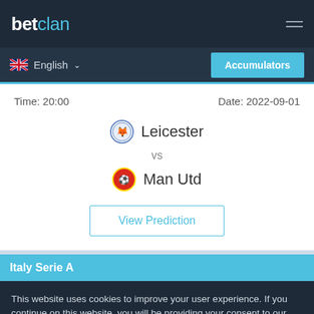betclan
English
Accumulators
Time: 20:00   Date: 2022-09-01
Leicester vs Man Utd
View Prediction
Italy Serie A
This website uses cookies to improve your user experience. If you continue on this website, you will be providing your consent to our use of cookies.
Info
Accept